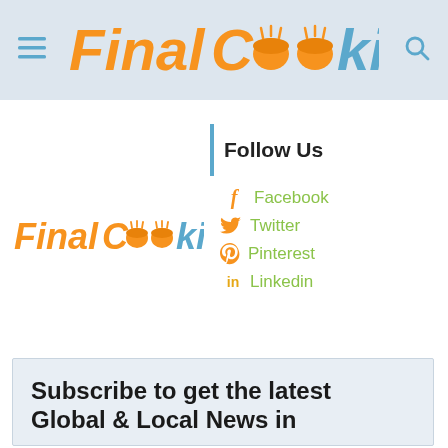FinalCooking — navigation header with menu icon and search icon
[Figure (logo): FinalCooking logo in orange and blue italic bold font with pot/steam icons replacing the two O letters]
[Figure (logo): FinalCooking smaller logo in orange and blue italic bold font]
Follow Us
Facebook
Twitter
Pinterest
Linkedin
Subscribe to get the latest Global & Local News in